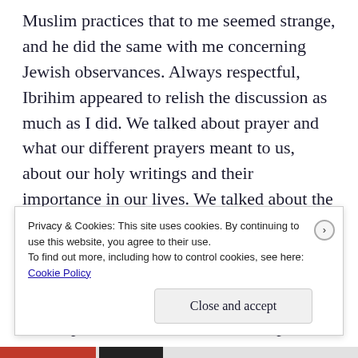Muslim practices that to me seemed strange, and he did the same with me concerning Jewish observances. Always respectful, Ibrihim appeared to relish the discussion as much as I did. We talked about prayer and what our different prayers meant to us, about our holy writings and their importance in our lives. We talked about the differences of growing up in the US versus life for him in Turkey. Respect of one's elders (he nodded to me when he spoke about this) was of utmost importance and how it pained him to see such disrespect in this country. I questioned him on the
Privacy & Cookies: This site uses cookies. By continuing to use this website, you agree to their use.
To find out more, including how to control cookies, see here:
Cookie Policy

Close and accept